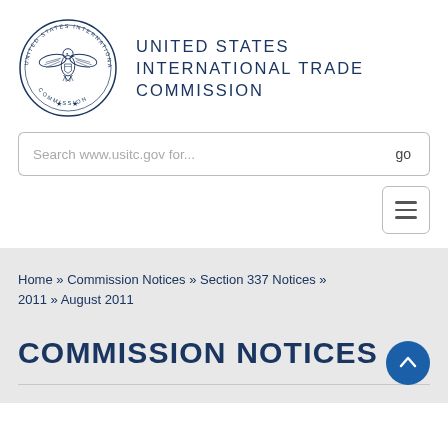[Figure (logo): United States International Trade Commission circular seal with eagle in center]
UNITED STATES INTERNATIONAL TRADE COMMISSION
Search www.usitc.gov for...
Home » Commission Notices » Section 337 Notices » 2011 » August 2011
COMMISSION NOTICES